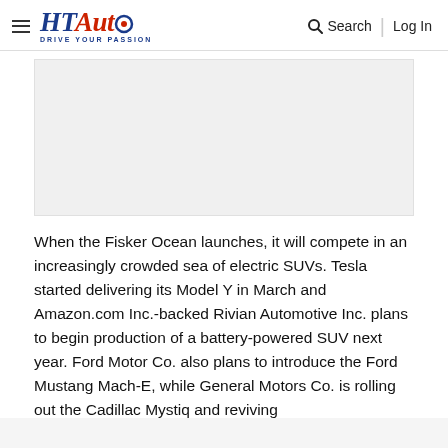HT Auto — Drive Your Passion | Search | Log In
[Figure (other): Gray placeholder advertisement or image block]
When the Fisker Ocean launches, it will compete in an increasingly crowded sea of electric SUVs. Tesla started delivering its Model Y in March and Amazon.com Inc.-backed Rivian Automotive Inc. plans to begin production of a battery-powered SUV next year. Ford Motor Co. also plans to introduce the Ford Mustang Mach-E, while General Motors Co. is rolling out the Cadillac Mystiq and reviving